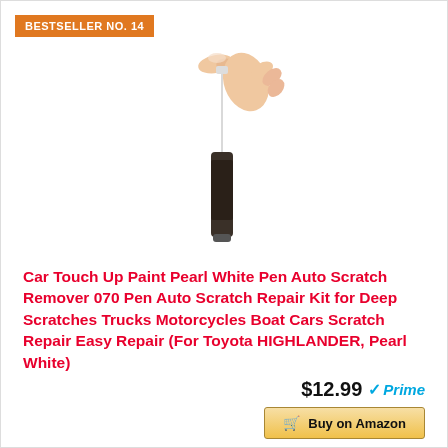BESTSELLER NO. 14
[Figure (photo): A hand holding a SONGVEN car touch-up paint pen by its applicator tip, with the cylindrical pen body hanging down showing the SONGVEN label]
Car Touch Up Paint Pearl White Pen Auto Scratch Remover 070 Pen Auto Scratch Repair Kit for Deep Scratches Trucks Motorcycles Boat Cars Scratch Repair Easy Repair (For Toyota HIGHLANDER, Pearl White)
$12.99 Prime
Buy on Amazon